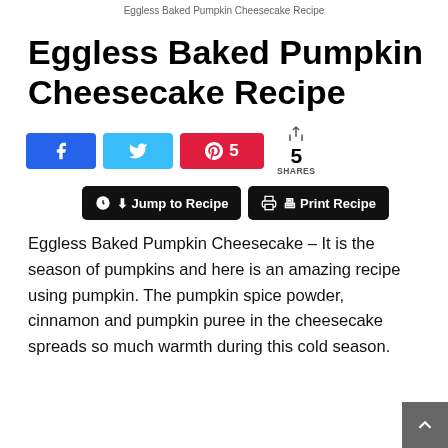Eggless Baked Pumpkin Cheesecake Recipe
Eggless Baked Pumpkin Cheesecake Recipe
Eggless Baked Pumpkin Cheesecake – It is the season of pumpkins and here is an amazing recipe using pumpkin. The pumpkin spice powder, cinnamon and pumpkin puree in the cheesecake spreads so much warmth during this cold season.